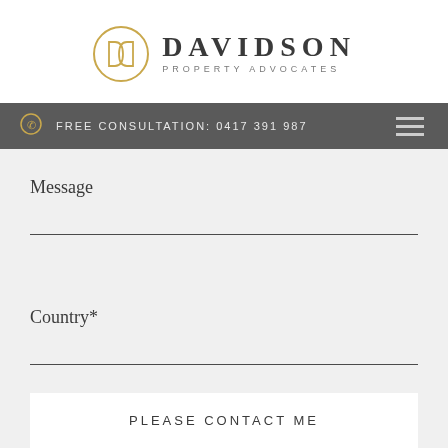[Figure (logo): Davidson Property Advocates logo — circular monogram with overlapping D letters in gold outline, beside large serif text DAVIDSON and smaller spaced caps PROPERTY ADVOCATES]
FREE CONSULTATION: 0417 391 987
Message
Country*
PLEASE CONTACT ME